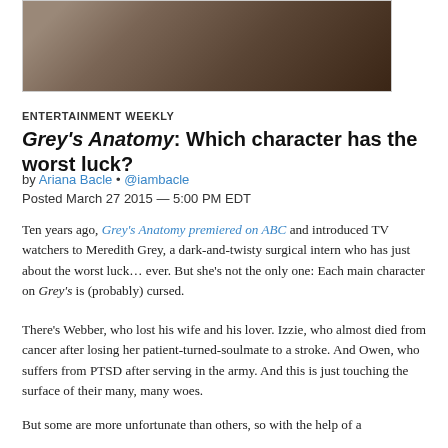[Figure (photo): Partial image of a Grey's Anatomy character, dark toned, cropped at top of page]
ENTERTAINMENT WEEKLY
Grey's Anatomy: Which character has the worst luck?
by Ariana Bacle • @iambacle
Posted March 27 2015 — 5:00 PM EDT
Ten years ago, Grey's Anatomy premiered on ABC and introduced TV watchers to Meredith Grey, a dark-and-twisty surgical intern who has just about the worst luck… ever. But she's not the only one: Each main character on Grey's is (probably) cursed.
There's Webber, who lost his wife and his lover. Izzie, who almost died from cancer after losing her patient-turned-soulmate to a stroke. And Owen, who suffers from PTSD after serving in the army. And this is just touching the surface of their many, many woes.
But some are more unfortunate than others, so with the help of a